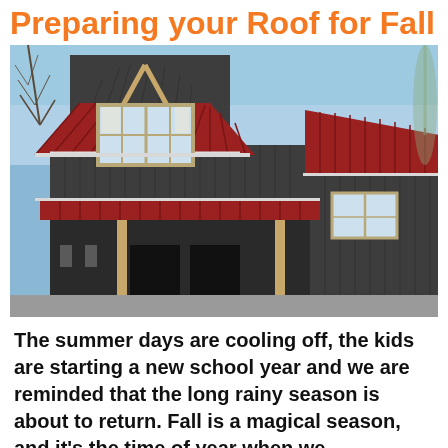Preparing your Roof for Fall
[Figure (photo): Exterior of a house with a dark gray vertical board siding and a red metal roof. The house has a prominent gable with exposed timber framing and multiple windows. The photo is taken from a low angle against a clear blue sky.]
The summer days are cooling off, the kids are starting a new school year and we are reminded that the long rainy season is about to return. Fall is a magical season, and it's the time of year when we